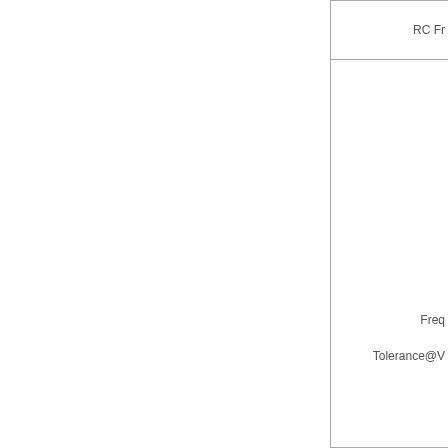| RC Fr... |  |
| --- | --- |
| Freq |  |
| Tolerance@V |  |